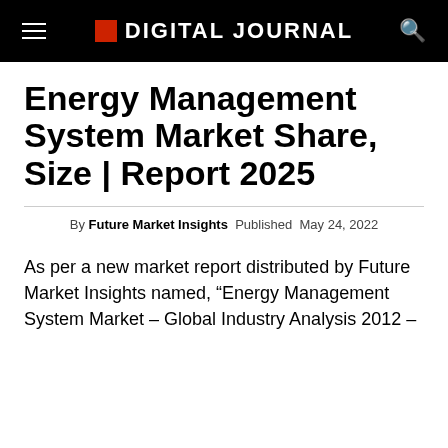DIGITAL JOURNAL
Energy Management System Market Share, Size | Report 2025
By Future Market Insights  Published  May 24, 2022
As per a new market report distributed by Future Market Insights named, “Energy Management System Market – Global Industry Analysis 2012 –